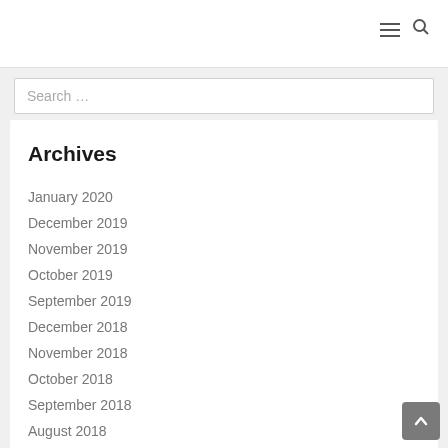Navigation icons: hamburger menu and search
Search …
Archives
January 2020
December 2019
November 2019
October 2019
September 2019
December 2018
November 2018
October 2018
September 2018
August 2018
July 2018
June 2018
May 2018
April 2018